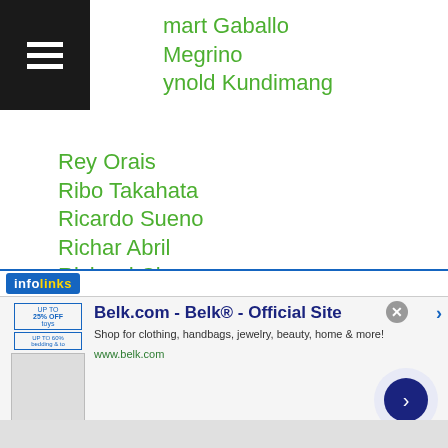mart Gaballo
Megrino
ynold Kundimang
Rey Orais
Ribo Takahata
Ricardo Sueno
Richar Abril
Richard Claveras
Richard Pumicpic
Richard Rosales
Richie Mepranum
Rick Yoshimura
Ricky Sismundo
Riki Hamada
Riki Masuda
Rikita Hattori
[Figure (screenshot): Infolinks advertisement bar with Belk.com ad]